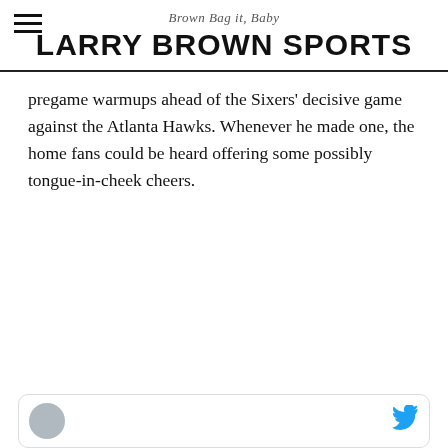Brown Bag it, Baby
LARRY BROWN SPORTS
pregame warmups ahead of the Sixers' decisive game against the Atlanta Hawks. Whenever he made one, the home fans could be heard offering some possibly tongue-in-cheek cheers.